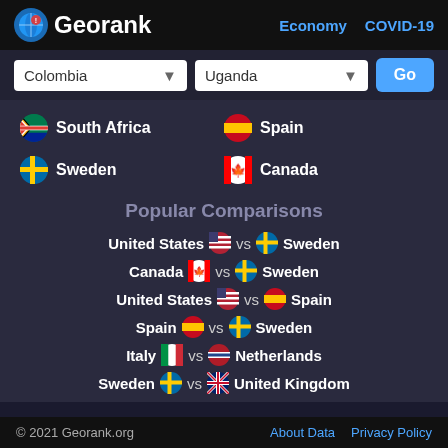Georank | Economy | COVID-19
Colombia | Uganda | Go
South Africa
Spain
Sweden
Canada
Popular Comparisons
United States vs Sweden
Canada vs Sweden
United States vs Spain
Spain vs Sweden
Italy vs Netherlands
Sweden vs United Kingdom
© 2021 Georank.org | About Data | Privacy Policy